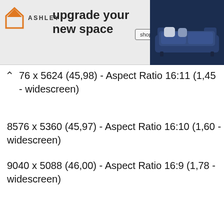[Figure (illustration): Ashley Furniture advertisement banner with orange house logo, 'upgrade your new space' text, 'shop now' button, and photo of a dark navy sofa]
76 x 5624 (45,98) - Aspect Ratio 16:11 (1,45 - widescreen)
8576 x 5360 (45,97) - Aspect Ratio 16:10 (1,60 - widescreen)
9040 x 5088 (46,00) - Aspect Ratio 16:9 (1,78 - widescreen)